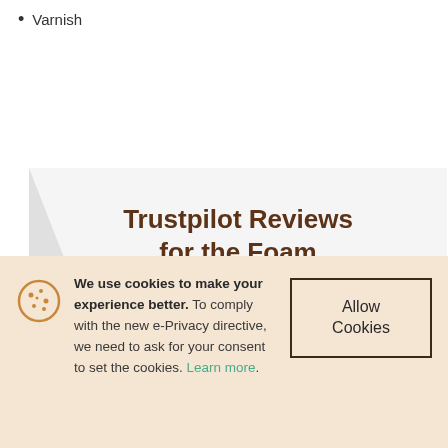Varnish
[Figure (screenshot): Trustpilot Reviews for the Foam Brushes section with rating bars and Trustpilot logo partially visible]
We use cookies to make your experience better. To comply with the new e-Privacy directive, we need to ask for your consent to set the cookies. Learn more.
Allow Cookies